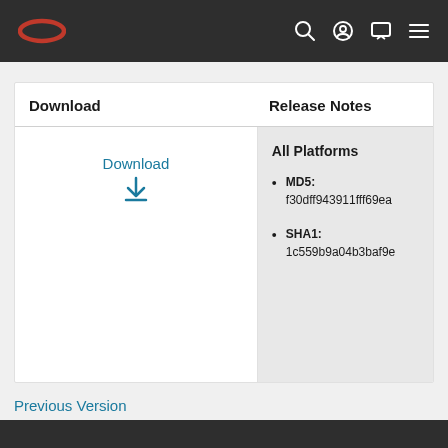Oracle navigation header with logo and icons
Download
Release Notes
Download
All Platforms
MD5: f30dff943911fff69ea
SHA1: 1c559b9a04b3baf9e
Previous Version